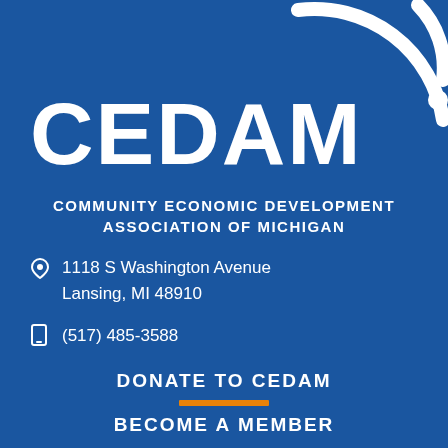[Figure (logo): CEDAM logo with white arc/circle graphic on blue background, top right corner]
CEDAM
COMMUNITY ECONOMIC DEVELOPMENT ASSOCIATION OF MICHIGAN
1118 S Washington Avenue Lansing, MI 48910
(517) 485-3588
DONATE TO CEDAM
BECOME A MEMBER